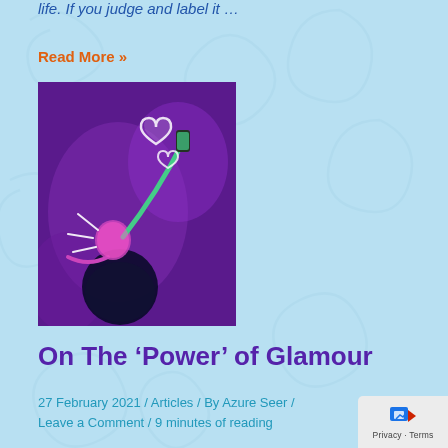life. If you judge and label it …
Read More »
[Figure (photo): A person looking up at glowing heart icons while holding a phone, with purple neon lighting and decorative heart illustrations.]
On The ‘Power’ of Glamour
27 February 2021 / Articles / By Azure Seer / Leave a Comment / 9 minutes of reading